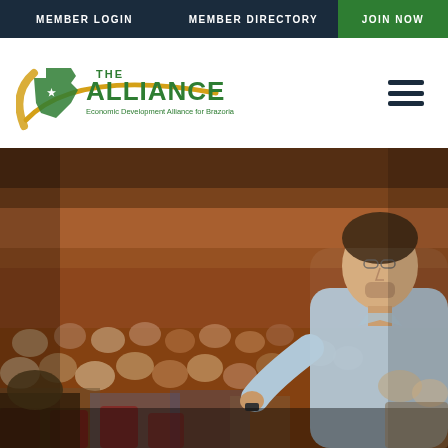MEMBER LOGIN | MEMBER DIRECTORY | JOIN NOW
[Figure (logo): The Alliance - Economic Development Alliance for Brazoria County logo with Texas state outline and crescent shape]
[Figure (photo): A man in a light blue shirt presenting/speaking to a large audience in an auditorium with red seats and warm wood-paneled walls]